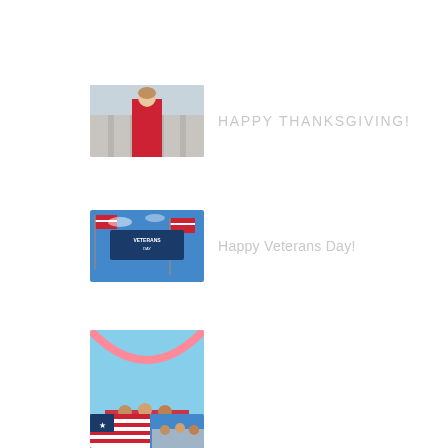[Figure (photo): Woman in red top standing in front of building]
HAPPY THANKSGIVING!
[Figure (photo): Veterans Day banner with American flags]
Happy Veterans Day!
[Figure (photo): People at Fourth of July parade/celebration with decorations]
HAPPY FOURTH OF JULY!
[Figure (photo): American flag, partial view, Memorial Day]
Happy Memorial Day